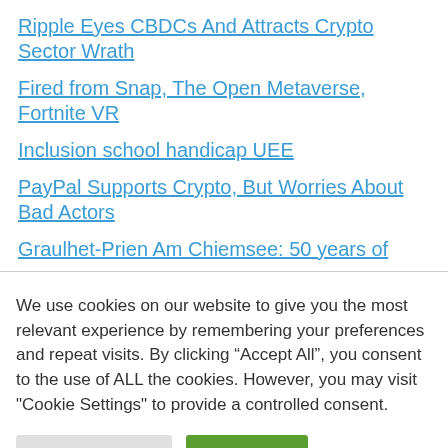Ripple Eyes CBDCs And Attracts Crypto Sector Wrath
Fired from Snap, The Open Metaverse, Fortnite VR
Inclusion school handicap UEE
PayPal Supports Crypto, But Worries About Bad Actors
Graulhet-Prien Am Chiemsee: 50 years of
We use cookies on our website to give you the most relevant experience by remembering your preferences and repeat visits. By clicking “Accept All”, you consent to the use of ALL the cookies. However, you may visit "Cookie Settings" to provide a controlled consent.
Cookie Settings
Accept All